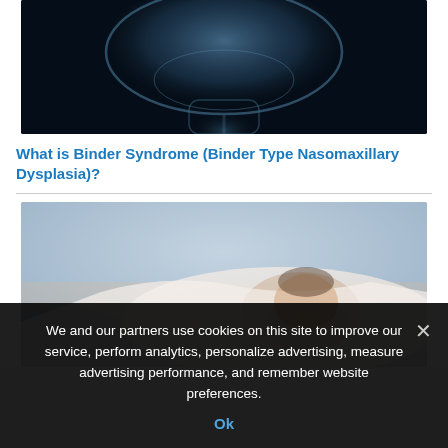[Figure (photo): X-ray style medical illustration of a human head and neck in blue tones with orange/red highlight at the top of the skull, against a black background]
What is Binder Syndrome (Binder Type Nasomaxillary Dysplasia)?
[Figure (photo): Photograph of a newborn baby lying in what appears to be a hospital bassinet or incubator, with blurred background in light/neutral tones]
We and our partners use cookies on this site to improve our service, perform analytics, personalize advertising, measure advertising performance, and remember website preferences.
Ok